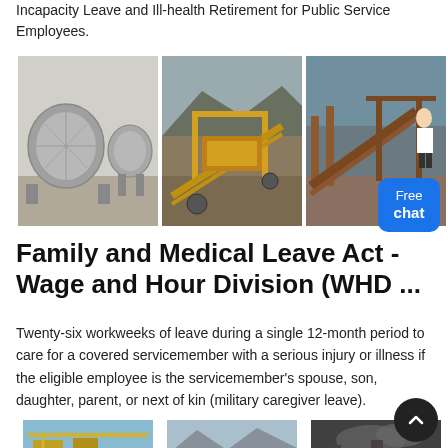Incapacity Leave and Ill-health Retirement for Public Service Employees.
[Figure (photo): Three industrial mining/processing equipment photos side by side: left shows large drum filters/rotary equipment in grey, center shows yellow construction/crushing equipment, right shows industrial plant equipment with rust-colored structures.]
Family and Medical Leave Act - Wage and Hour Division (WHD ...
Twenty-six workweeks of leave during a single 12-month period to care for a covered servicemember with a serious injury or illness if the eligible employee is the servicemember's spouse, son, daughter, parent, or next of kin (military caregiver leave).
[Figure (photo): Three industrial/mining site photos side by side at the bottom of the page, partially cut off.]